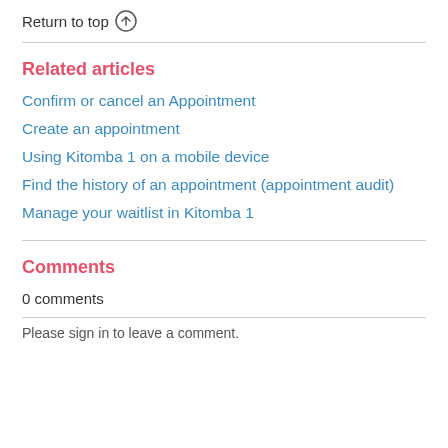Return to top ↑
Related articles
Confirm or cancel an Appointment
Create an appointment
Using Kitomba 1 on a mobile device
Find the history of an appointment (appointment audit)
Manage your waitlist in Kitomba 1
Comments
0 comments
Please sign in to leave a comment.